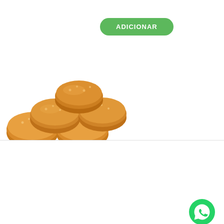ADICIONAR
[Figure (photo): Stack of golden fried sesame-coated food pieces (croquettes or similar snack) on white background]
Nós usamos cookies para ajudar a te proporcionar uma experiência ainda melhor, personalizando conteúdos e anúncios. Ao fechar esta janela entendemos que você aceita receber todos os cookies. Caso queira ler mais, acesse nosso termos e condições
Aceitar
[Figure (logo): WhatsApp green circle icon with phone handset]